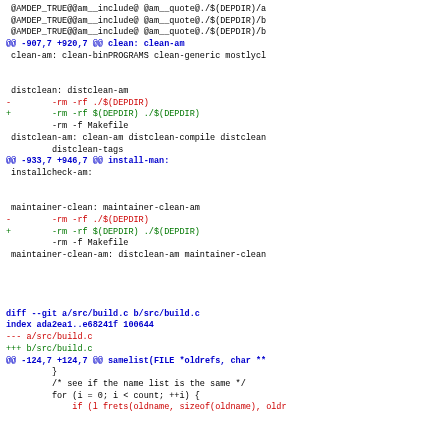Diff/patch code showing Makefile and build.c changes including DEPDIR handling and maintainer-clean targets